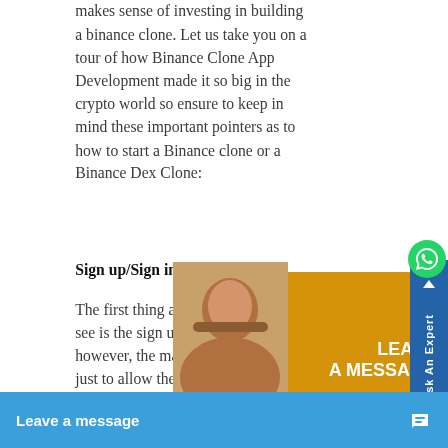makes sense of investing in building a binance clone. Let us take you on a tour of how Binance Clone App Development made it so big in the crypto world so ensure to keep in mind these important pointers as to how to start a Binance clone or a Binance Dex Clone:
Sign up/Sign in
The first thing a buyer or a seller will see is the sign up/login page, however, the main point here is not just to allow the user... the registration... protect the sy...